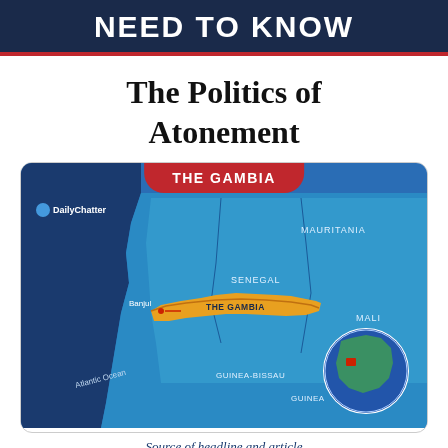NEED TO KNOW
The Politics of Atonement
[Figure (map): Map of The Gambia showing its location in West Africa, surrounded by Senegal, with labels for Mauritania, Mali, Senegal, Guinea-Bissau, Guinea, Atlantic Ocean, and the capital Banjul. The Gambia is highlighted in orange. An inset globe shows Africa with the region marked. DailyChatter logo in upper left.]
THE GAMBIA